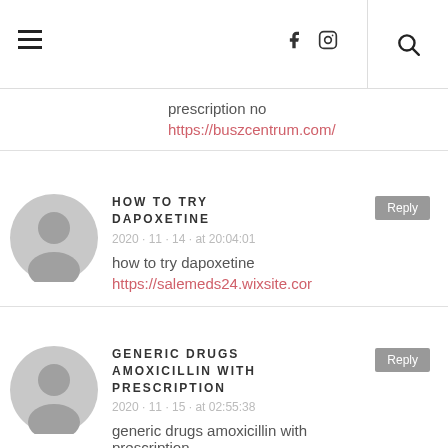Navigation header with hamburger menu, social icons (Facebook, Instagram), and search
prescription no
https://buszcentrum.com/
HOW TO TRY DAPOXETINE
2020 · 11 · 14 · at 20:04:01
how to try dapoxetine
https://salemeds24.wixsite.cor
GENERIC DRUGS AMOXICILLIN WITH PRESCRIPTION
2020 · 11 · 15 · at 02:55:38
generic drugs amoxicillin with prescription